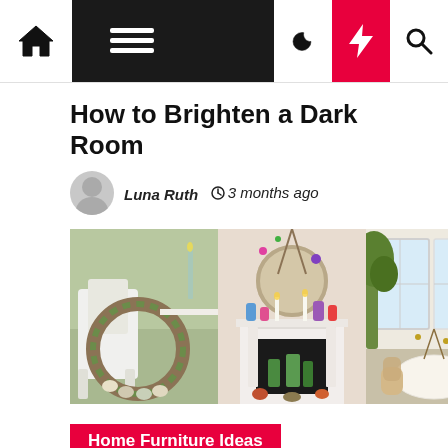Navigation bar with home, menu, moon, lightning, and search icons
How to Brighten a Dark Room
Luna Ruth  3 months ago
[Figure (photo): Three side-by-side interior decoration photos: a floral wreath on a chair, a fireplace mantel with spring flowers and a round mirror, and a bright dining room with large windows and plants.]
Home Furniture Ideas